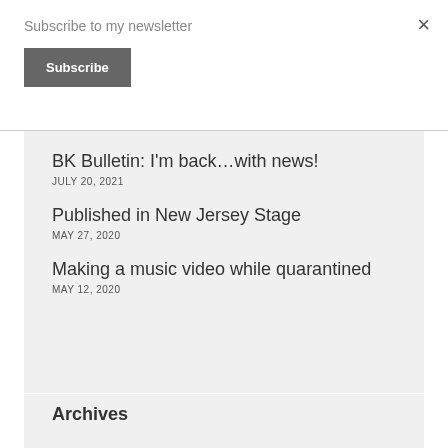Subscribe to my newsletter
Subscribe
×
BK Bulletin: I'm back…with news!
JULY 20, 2021
Published in New Jersey Stage
MAY 27, 2020
Making a music video while quarantined
MAY 12, 2020
Archives